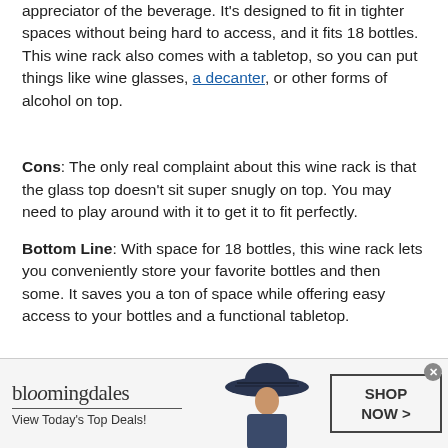appreciator of the beverage. It's designed to fit in tighter spaces without being hard to access, and it fits 18 bottles. This wine rack also comes with a tabletop, so you can put things like wine glasses, a decanter, or other forms of alcohol on top.
Cons: The only real complaint about this wine rack is that the glass top doesn't sit super snugly on top. You may need to play around with it to get it to fit perfectly.
Bottom Line: With space for 18 bottles, this wine rack lets you conveniently store your favorite bottles and then some. It saves you a ton of space while offering easy access to your bottles and a functional tabletop.
[Figure (infographic): Bloomingdale's advertisement banner with logo, tagline 'View Today's Top Deals!', a woman wearing a large hat, and a 'SHOP NOW >' button.]